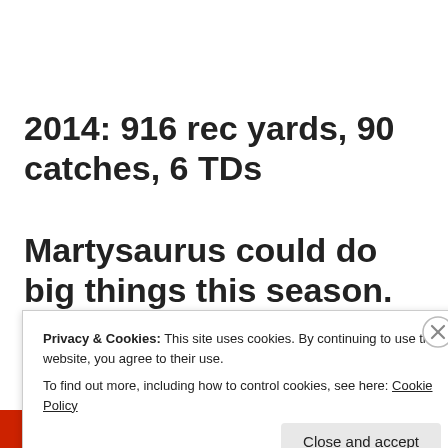2014: 916 rec yards, 90 catches, 6 TDs
Martysaurus could do big things this season. “Denver-Julius
Privacy & Cookies: This site uses cookies. By continuing to use this website, you agree to their use.
To find out more, including how to control cookies, see here: Cookie Policy